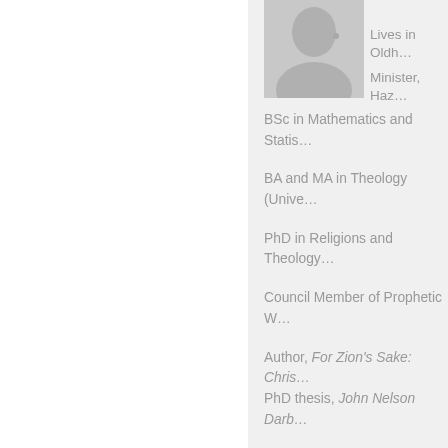[Figure (photo): Silhouette profile photo placeholder in gray]
Lives in Oldh…
Minister, Haz…
BSc in Mathematics and Statis…
BA and MA in Theology (Unive…
PhD in Religions and Theology…
Council Member of Prophetic W…
Author, For Zion's Sake: Chris… PhD thesis, John Nelson Darb…
Research consultant for the do… in the U.S. as The Cyrus Call, … to the issuing of the Balfour De…
Studied and taught at the Inter… and contributor to several Chri…